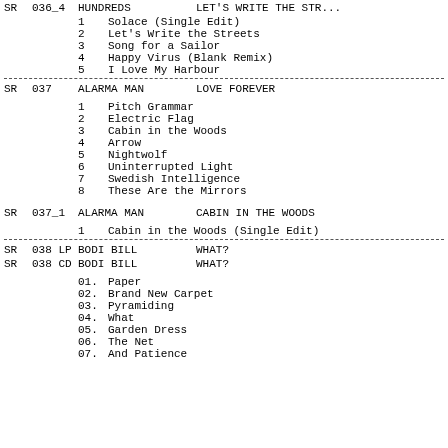| Type | Num | Artist | Title |
| --- | --- | --- | --- |
| SR | 036_4 | HUNDREDS | LET'S WRITE THE STR... |
|  | 1 | Solace (Single Edit) |  |
|  | 2 | Let's Write the Streets |  |
|  | 3 | Song for a Sailor |  |
|  | 4 | Happy Virus (Blank Remix) |  |
|  | 5 | I Love My Harbour |  |
| SR | 037 | ALARMA MAN | LOVE FOREVER |
|  | 1 | Pitch Grammar |  |
|  | 2 | Electric Flag |  |
|  | 3 | Cabin in the Woods |  |
|  | 4 | Arrow |  |
|  | 5 | Nightwolf |  |
|  | 6 | Uninterrupted Light |  |
|  | 7 | Swedish Intelligence |  |
|  | 8 | These Are the Mirrors |  |
| SR | 037_1 | ALARMA MAN | CABIN IN THE WOODS |
|  | 1 | Cabin in the Woods (Single Edit) |  |
| SR | 038 LP | BODI BILL | WHAT? |
| SR | 038 CD | BODI BILL | WHAT? |
|  | 01. | Paper |  |
|  | 02. | Brand New Carpet |  |
|  | 03. | Pyramiding |  |
|  | 04. | What |  |
|  | 05. | Garden Dress |  |
|  | 06. | The Net |  |
|  | 07. | And Patience |  |